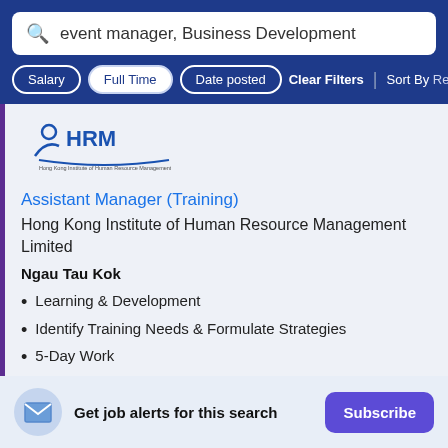Search: event manager, Business Development
Salary | Full Time | Date posted | Clear Filters | Sort By Relevance
[Figure (logo): HRM - Hong Kong Institute of Human Resource Management logo]
Assistant Manager (Training)
Hong Kong Institute of Human Resource Management Limited
Ngau Tau Kok
Learning & Development
Identify Training Needs & Formulate Strategies
5-Day Work
Get job alerts for this search  Subscribe